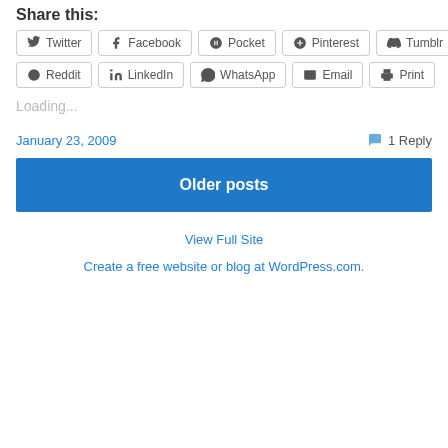Share this:
Twitter Facebook Pocket Pinterest Tumblr Reddit LinkedIn WhatsApp Email Print
Loading...
January 23, 2009
1 Reply
Older posts
View Full Site
Create a free website or blog at WordPress.com.